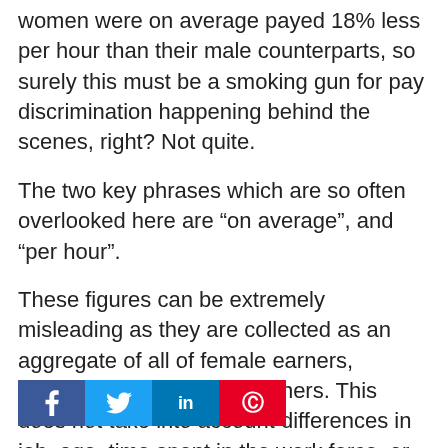women were on average payed 18% less per hour than their male counterparts, so surely this must be a smoking gun for pay discrimination happening behind the scenes, right? Not quite.
The two key phrases which are so often overlooked here are “on average”, and “per hour”.
These figures can be extremely misleading as they are collected as an aggregate of all of female earners, compared with all male earners. This does not take into account differences in job, age, time spent in the work force, or qualifications. It also lumps part time and full time earnings together, despite women being three times more likely to work part time than men (part time hourly wages tend to be lower than full time hourly wages), and as such to sim[plify/]ese the two [aggregates of ma...][rnings is...]
[Figure (infographic): Social media share buttons bar: Facebook (blue, f icon), Twitter (light blue, bird icon), LinkedIn (dark blue, in label), Pinterest (red, circle P icon)]